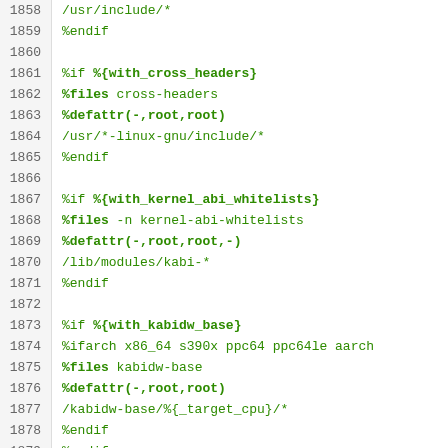Code listing lines 1858–1881, RPM spec file snippet
1858  /usr/include/*
1859  %endif
1860  (blank)
1861  %if %{with_cross_headers}
1862  %files cross-headers
1863  %defattr(-,root,root)
1864  /usr/*-linux-gnu/include/*
1865  %endif
1866  (blank)
1867  %if %{with_kernel_abi_whitelists}
1868  %files -n kernel-abi-whitelists
1869  %defattr(-,root,root,-)
1870  /lib/modules/kabi-*
1871  %endif
1872  (blank)
1873  %if %{with_kabidw_base}
1874  %ifarch x86_64 s390x ppc64 ppc64le aarch
1875  %files kabidw-base
1876  %defattr(-,root,root)
1877  /kabidw-base/%{_target_cpu}/*
1878  %endif
1879  %endif
1880  (blank)
1881  # only some architecture builds need ke